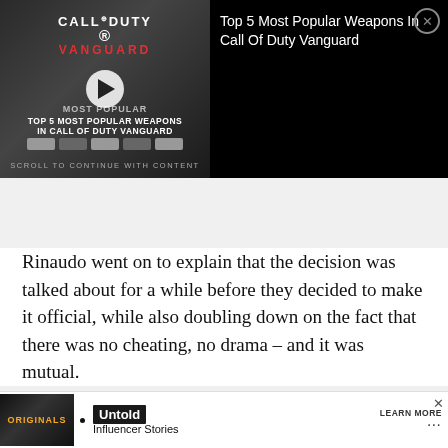[Figure (screenshot): Video ad for 'Top 5 Most Popular Weapons In Call Of Duty Vanguard' with video thumbnail on left showing Call of Duty Vanguard logo, play button, and text 'TOP 5 MOST POPULAR WEAPONS IN CALL OF DUTY VANGUARD', scroll bar indicators, and text 'SCROLL TO CONTINUE WITH CONTENT'. Right side shows ad title and close button.]
Rinaudo went on to explain that the decision was talked about for a while before they decided to make it official, while also doubling down on the fact that there was no cheating, no drama – and it was mutual.
Subscribe to our newsletter for the latest upd
[Figure (screenshot): Bottom advertisement banner showing 'Originals' logo, bullet point, 'Untold' label, 'Influencer Stories' text, 'LEARN MORE' button, and X close button.]